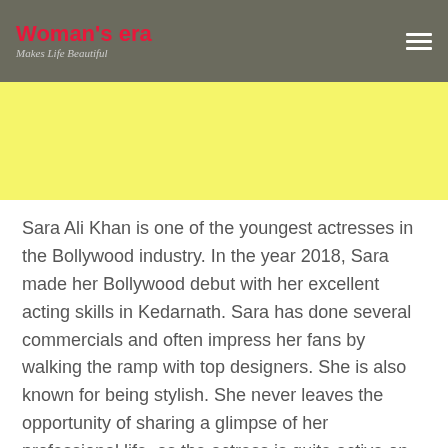Woman's era — Makes Life Beautiful
[Figure (other): Yellow advertisement banner placeholder]
Sara Ali Khan is one of the youngest actresses in the Bollywood industry. In the year 2018, Sara made her Bollywood debut with her excellent acting skills in Kedarnath. Sara has done several commercials and often impress her fans by walking the ramp with top designers. She is also known for being stylish. She never leaves the opportunity of sharing a glimpse of her professional life, as the actress is quite active on